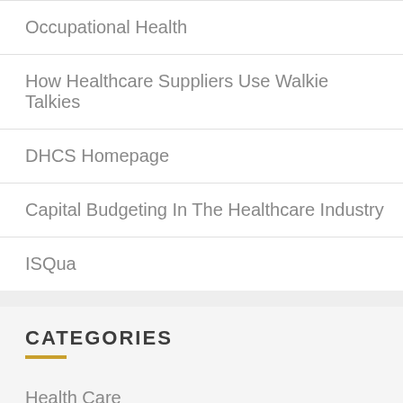Occupational Health
How Healthcare Suppliers Use Walkie Talkies
DHCS Homepage
Capital Budgeting In The Healthcare Industry
ISQua
CATEGORIES
Health Care
Health Insurance
Health News